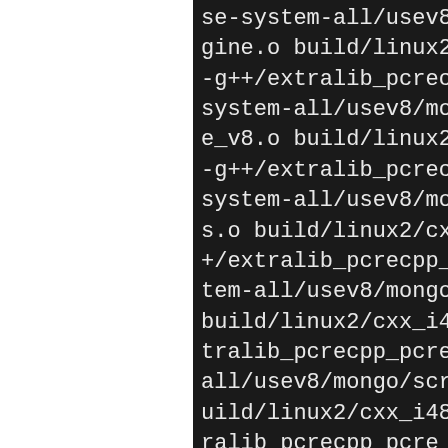se-system-all/usev8/mongo/gine.o build/linux2/cxx_i4-g++/extralib_pcrecpp_pcresystem-all/usev8/mongo/sce_v8.o build/linux2/cxx_i4-g++/extralib_pcrecpp_pcresystem-all/usev8/mongo/scs.o build/linux2/cxx_i486-+/extralib_pcrecpp_pcre_sntem-all/usev8/mongo/scriptbuild/linux2/cxx_i486-pld-tralib_pcrecpp_pcre_snappyall/usev8/mongo/scripting/uild/linux2/cxx_i486-pld-lralib_pcrecpp_pcre_snappy/ll/usev8/mongo/scripting/vbuild/linux2/cxx_i486-pld-tralib_pcrecpp_pcre_snappyall/usev8/mongo/shell/mongnux2/cxx_i486-pld-linux-g-crecpp_pcre_snappy/use-sys8/mongo/tools/stat_util.o2/cxx_i486-pld-linux-g++/ecpp_pcre_snappy/use-syste